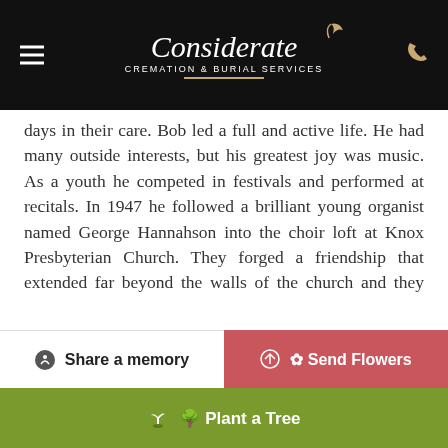Considerate Cremation & Burial Services
days in their care. Bob led a full and active life. He had many outside interests, but his greatest joy was music. As a youth he competed in festivals and performed at recitals. In 1947 he followed a brilliant young organist named George Hannahson into the choir loft at Knox Presbyterian Church. They forged a friendship that extended far beyond the walls of the church and they remained close until George's untimely death in 1984. Bob had a successful political career that spanned three decades. He was a WWII Veteran, Legion member, Mason, Gyro and a lifetime member of the Old Boys Lacrosse Association. Some of his best days were spent on and off the golf course with Al Colbey. Bob enjoyed winter vacations in Florida and for many years he spent the first week of August at Torpitt Lodge on Sparrow Lake. There he reunited with friends from across Canada and The U.S.A., it was a very special place for him. Bob was so happy he was able to remain in his
Share a memory
Send Flowers
Plant a Tree